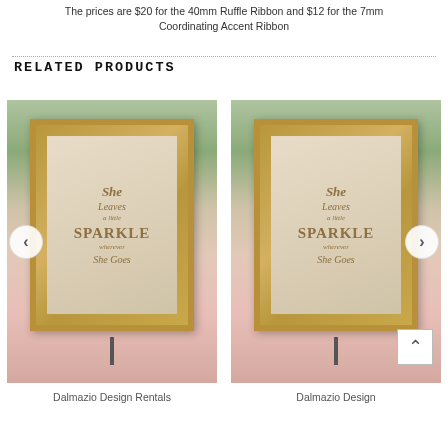The prices are $20 for the 40mm Ruffle Ribbon and $12 for the 7mm Coordinating Accent Ribbon
RELATED PRODUCTS
[Figure (photo): Framed 'She Leaves a Little Sparkle Wherever She Goes' decorative sign on an easel, displayed on a pink rosette tablecloth with greenery background. Left product photo with left navigation arrow.]
Dalmazio Design Rentals
[Figure (photo): Framed 'She Leaves a Little Sparkle Wherever She Goes' decorative sign on an easel, displayed on a pink rosette tablecloth with greenery background. Right product photo with right navigation arrow and scroll-to-top button.]
Dalmazio Design